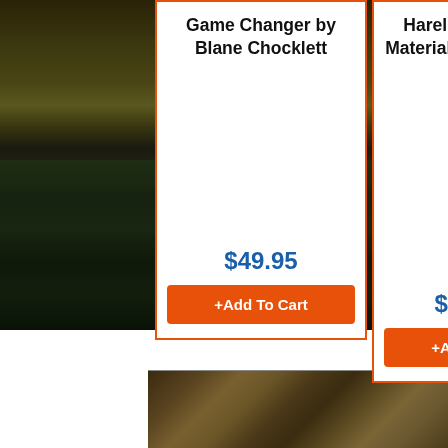[Figure (photo): Dark nature/river background with rocks and vegetation visible behind product cards]
Game Changer by Blane Chocklett
$49.95
+Add To Cart
Hareline Fly Tying Material Kit with Eco...
$165.00
+Add To Cart
[Figure (photo): Close-up photo of a fish being held near water, showing scales and fins]